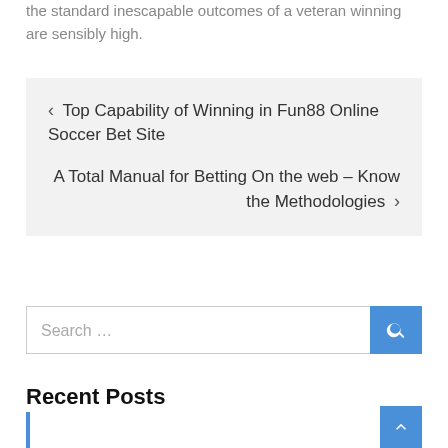the standard inescapable outcomes of a veteran winning are sensibly high.
< Top Capability of Winning in Fun88 Online Soccer Bet Site
A Total Manual for Betting On the web – Know the Methodologies >
Search ...
Recent Posts